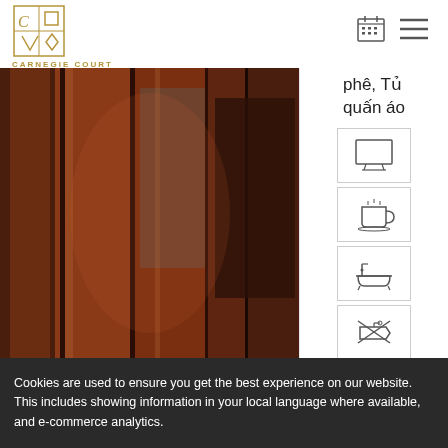[Figure (logo): Carnegie Court logo with geometric C and square shapes in gold/black, text CARNEGIE COURT below]
[Figure (other): Calendar grid icon in header]
[Figure (other): Hamburger menu icon in header]
[Figure (photo): Photo of dark wooden wardrobe/closet with hanging clothes, warm tones]
phê, Tủ quấn áo
[Figure (other): TV/monitor icon]
[Figure (other): Coffee/tea cup icon]
[Figure (other): Bathtub icon]
[Figure (other): Iron/do not iron icon]
Cookies are used to ensure you get the best experience on our website. This includes showing information in your local language where available, and e-commerce analytics.